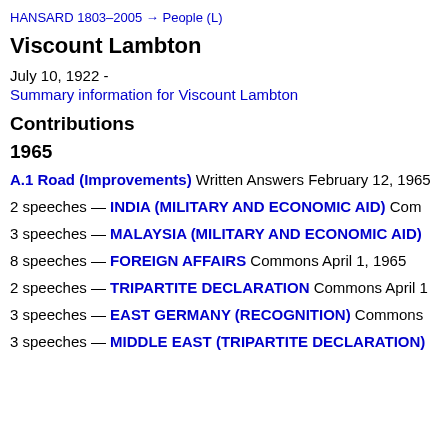HANSARD 1803–2005 → People (L)
Viscount Lambton
July 10, 1922 -
Summary information for Viscount Lambton
Contributions
1965
A.1 Road (Improvements) Written Answers February 12, 1965
2 speeches — INDIA (MILITARY AND ECONOMIC AID) Com
3 speeches — MALAYSIA (MILITARY AND ECONOMIC AID)
8 speeches — FOREIGN AFFAIRS Commons April 1, 1965
2 speeches — TRIPARTITE DECLARATION Commons April 1
3 speeches — EAST GERMANY (RECOGNITION) Commons
3 speeches — MIDDLE EAST (TRIPARTITE DECLARATION)